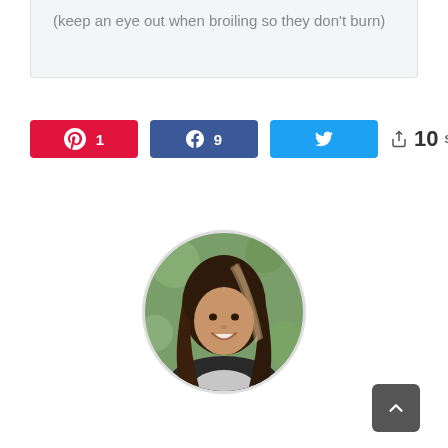(keep an eye out when broiling so they don't burn)
[Figure (infographic): Social share buttons: Pinterest with count 1, Facebook with count 9, Twitter button, and total shares count of 10]
[Figure (photo): Circular profile photo of a smiling woman with long dark and highlighted hair, outdoors with greenery in background]